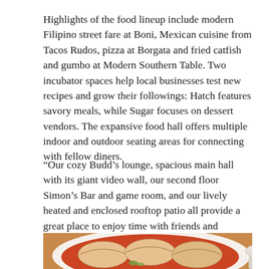Highlights of the food lineup include modern Filipino street fare at Boni, Mexican cuisine from Tacos Rudos, pizza at Borgata and fried catfish and gumbo at Modern Southern Table. Two incubator spaces help local businesses test new recipes and grow their followings: Hatch features savory meals, while Sugar focuses on dessert vendors. The expansive food hall offers multiple indoor and outdoor seating areas for connecting with fellow diners.
“Our cozy Budd’s lounge, spacious main hall with its giant video wall, our second floor Simon’s Bar and game room, and our lively heated and enclosed rooftop patio all provide a great place to enjoy time with friends and family,” Hughes adds. 1086 N. Fourth St., Columbus 43201, 614/505-2630, budddairyfoodhall.com
[Figure (photo): Close-up photo of dumplings in a red/orange broth sauce on a white plate, with a spoon visible at right edge, on a wooden surface]